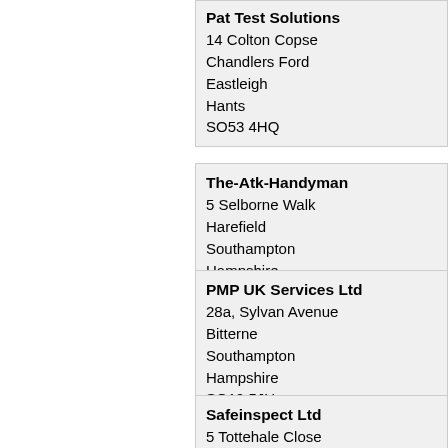Pat Test Solutions
14 Colton Copse
Chandlers Ford
Eastleigh
Hants
SO53 4HQ
The-Atk-Handyman
5 Selborne Walk
Harefield
Southampton
Hampshire
SO18 5DY
PMP UK Services Ltd
28a, Sylvan Avenue
Bitterne
Southampton
Hampshire
SO19 5JU
Safeinspect Ltd
5 Tottehale Close
North Baddesley
Southampton
Hampshire
SO52 9NO